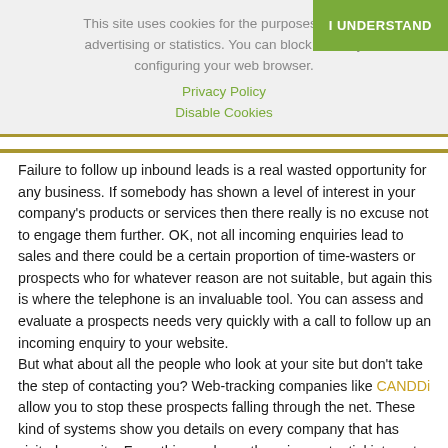This site uses cookies for the purposes of providing advertising or statistics. You can block them by configuring your web browser.
Privacy Policy
Disable Cookies
I UNDERSTAND
Failure to follow up inbound leads is a real wasted opportunity for any business. If somebody has shown a level of interest in your company's products or services then there really is no excuse not to engage them further. OK, not all incoming enquiries lead to sales and there could be a certain proportion of time-wasters or prospects who for whatever reason are not suitable, but again this is where the telephone is an invaluable tool. You can assess and evaluate a prospects needs very quickly with a call to follow up an incoming enquiry to your website.
But what about all the people who look at your site but don't take the step of contacting you? Web-tracking companies like CANDDi allow you to stop these prospects falling through the net. These kind of systems show you details on every company that has visited your site. From this you know there is a potential interest and you can quickly filter between which are likely be the customers in your